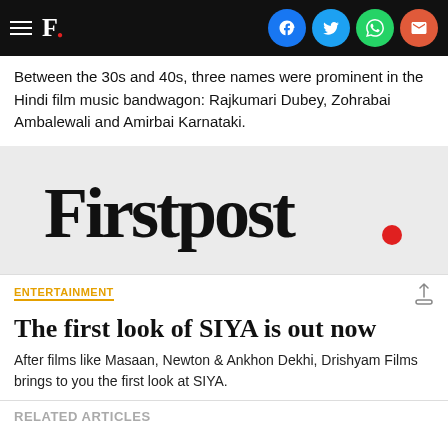Firstpost.
Between the 30s and 40s, three names were prominent in the Hindi film music bandwagon: Rajkumari Dubey, Zohrabai Ambalewali and Amirbai Karnataki.
[Figure (logo): Firstpost logo on grey background]
ENTERTAINMENT
The first look of SIYA is out now
After films like Masaan, Newton & Ankhon Dekhi, Drishyam Films brings to you the first look at SIYA.
RELATED ARTICLES